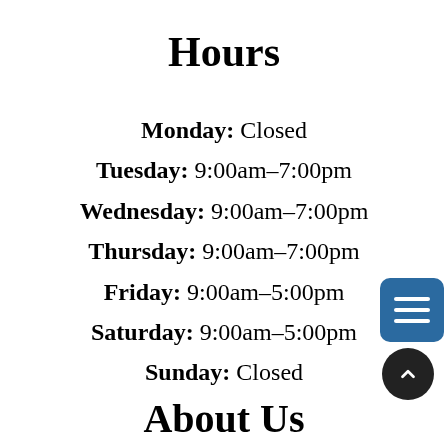Hours
Monday: Closed
Tuesday: 9:00am–7:00pm
Wednesday: 9:00am–7:00pm
Thursday: 9:00am–7:00pm
Friday: 9:00am–5:00pm
Saturday: 9:00am–5:00pm
Sunday: Closed
About Us